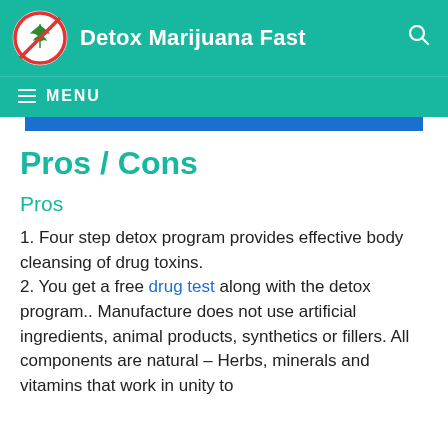Detox Marijuana Fast
Pros / Cons
Pros
1. Four step detox program provides effective body cleansing of drug toxins.
2. You get a free drug test along with the detox program.. Manufacture does not use artificial ingredients, animal products, synthetics or fillers. All components are natural – Herbs, minerals and vitamins that work in unity to